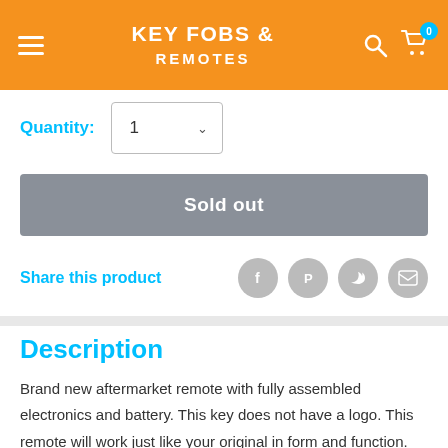KEY FOBS & REMOTES
Quantity: 1
Sold out
Share this product
Description
Brand new aftermarket remote with fully assembled electronics and battery. This key does not have a logo. This remote will work just like your original in form and function.